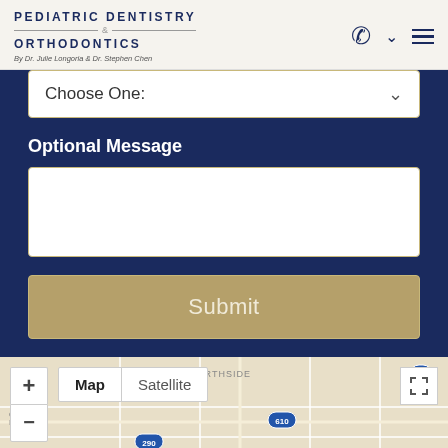PEDIATRIC DENTISTRY & ORTHODONTICS By Dr. Julie Longoria & Dr. Stephen Chen
Choose One:
Optional Message
Submit
[Figure (map): Google map showing Houston area with roads, highways 290, 610, NORTHSIDE label, Hedwig Hills, Washington Avenue labels. Map/Satellite toggle buttons visible.]